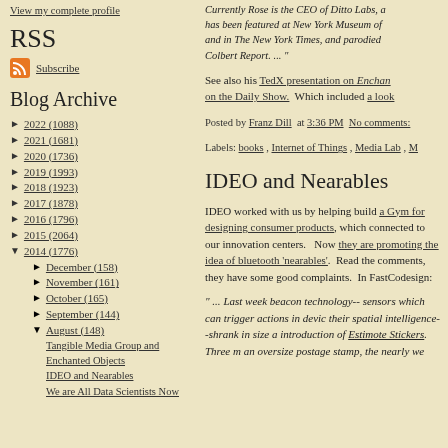View my complete profile
RSS
Subscribe
Blog Archive
► 2022 (1088)
► 2021 (1681)
► 2020 (1736)
► 2019 (1993)
► 2018 (1923)
► 2017 (1878)
► 2016 (1796)
► 2015 (2064)
▼ 2014 (1776)
► December (158)
► November (161)
► October (165)
► September (144)
▼ August (148)
Tangible Media Group and Enchanted Objects
IDEO and Nearables
We are All Data Scientists Now
Currently Rose is the CEO of Ditto Labs, a has been featured at New York Museum of and in The New York Times, and parodied Colbert Report. ... "
See also his TedX presentation on Enchan on the Daily Show. Which included a look
Posted by Franz Dill at 3:36 PM No comments:
Labels: books , Internet of Things , Media Lab , M
IDEO and Nearables
IDEO worked with us by helping build a Gym for designing consumer products, which connected to our innovation centers. Now they are promoting the idea of bluetooth 'nearables'. Read the comments, they have some good complaints. In FastCodesign:
" ... Last week beacon technology-- sensors which can trigger actions in devic their spatial intelligence--shrank in size a introduction of Estimote Stickers. Three m an oversize postage stamp, the nearly we